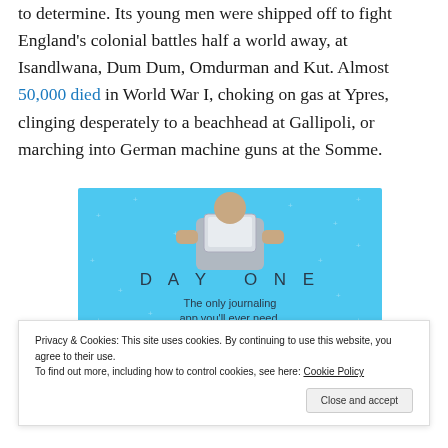to determine. Its young men were shipped off to fight England's colonial battles half a world away, at Isandlwana, Dum Dum, Omdurman and Kut. Almost 50,000 died in World War I, choking on gas at Ypres, clinging desperately to a beachhead at Gallipoli, or marching into German machine guns at the Somme.
[Figure (illustration): Day One journaling app advertisement on blue background with a person holding a phone/tablet, star dot pattern, text: DAY ONE - The only journaling app you'll ever need.]
Privacy & Cookies: This site uses cookies. By continuing to use this website, you agree to their use.
To find out more, including how to control cookies, see here: Cookie Policy